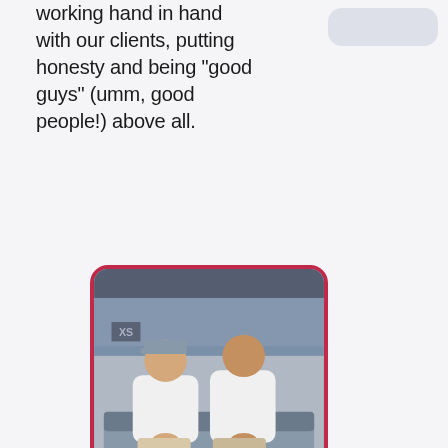working hand in hand with our clients, putting honesty and being "good guys" (umm, good people!) above all.
[Figure (photo): Two men in white polo shirts sitting side by side on a grey couch in what appears to be an office or showroom setting.]